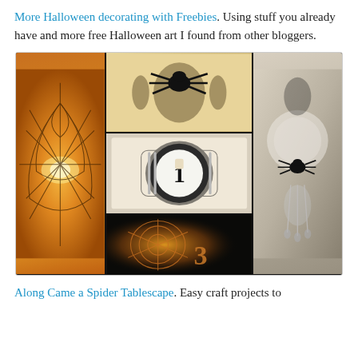More Halloween decorating with Freebies. Using stuff you already have and more free Halloween art I found from other bloggers.
[Figure (photo): A collage of Halloween table decoration photos: a spiderweb candle holder, a black spider on damask pattern, a table setting with a numbered plate and black damask placemat, a spider on silverware/crystal tablescape, and a bottom center image of a spiderweb candle with a number 3.]
Along Came a Spider Tablescape. Easy craft projects to